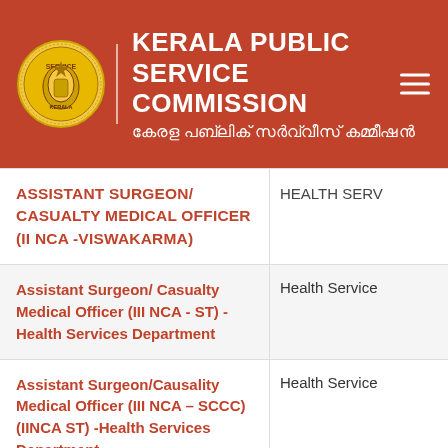KERALA PUBLIC SERVICE COMMISSION / കേരള പബ്ലിക്‌ സർവ്വീസ് കമ്മീഷൻ
| Position/Role | Department |
| --- | --- |
| ASSISTANT SURGEON/ CASUALTY MEDICAL OFFICER (II NCA -VISWAKARMA) | HEALTH SERVICES |
| Assistant Surgeon/ Casualty Medical Officer (III NCA - ST) - Health Services Department | Health Services |
| Assistant Surgeon/Causality Medical Officer (III NCA – SCCC) (IINCA ST) -Health Services Department | Health Services |
| Assistant Surgeon/Causality Medical Officer (NCA – E/B/T, NCAMuslim, NCAOBC) - Health Services Department | Health Services |